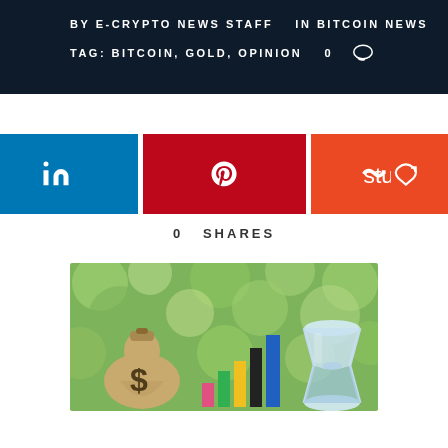BY E-CRYPTO NEWS STAFF   IN BITCOIN NEWS
TAG: BITCOIN, GOLD, OPINION   0  💬
[Figure (infographic): Social share buttons: Facebook (dark blue), LinkedIn (blue), Pinterest (red), StumbleUpon (orange-red), Twitter (light blue), each with their respective icons]
0  SHARES
[Figure (photo): Photo of a burlap money bag with a dollar sign, colorful bar chart bars (pink, green, yellow, black, blue), and an hourglass against a blurred green bokeh background]